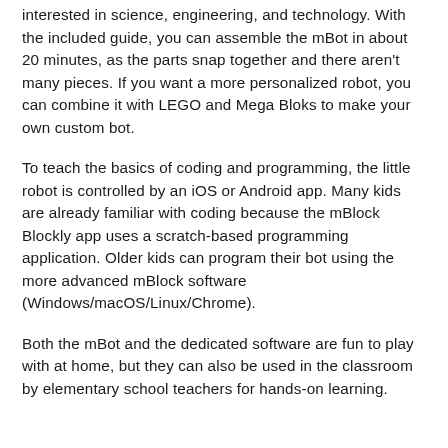interested in science, engineering, and technology. With the included guide, you can assemble the mBot in about 20 minutes, as the parts snap together and there aren't many pieces. If you want a more personalized robot, you can combine it with LEGO and Mega Bloks to make your own custom bot.
To teach the basics of coding and programming, the little robot is controlled by an iOS or Android app. Many kids are already familiar with coding because the mBlock Blockly app uses a scratch-based programming application. Older kids can program their bot using the more advanced mBlock software (Windows/macOS/Linux/Chrome).
Both the mBot and the dedicated software are fun to play with at home, but they can also be used in the classroom by elementary school teachers for hands-on learning.